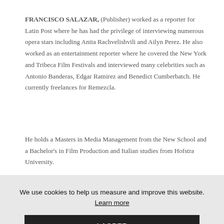FRANCISCO SALAZAR, (Publisher) worked as a reporter for Latin Post where he has had the privilege of interviewing numerous opera stars including Anita Rachvelishvili and Ailyn Perez. He also worked as an entertainment reporter where he covered the New York and Tribeca Film Festivals and interviewed many celebrities such as Antonio Banderas, Edgar Ramirez and Benedict Cumberbatch. He currently freelances for Remezcla.
He holds a Masters in Media Management from the New School and a Bachelor's in Film Production and Italian studies from Hofstra University.
We use cookies to help us measure and improve this website. Learn more
I AGREE